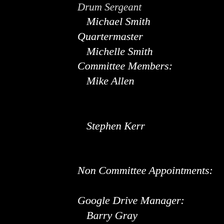Drum Sergeant
Michael Smith
Quartermaster
Michelle Smith
Committee Members:
Mike Allen
Stephen Kerr
Non Committee Appointments:
Google Drive Manager:
Barry Gray
Newsletter Editor & Publicity:
Heather Martin
Facebook & Social Media